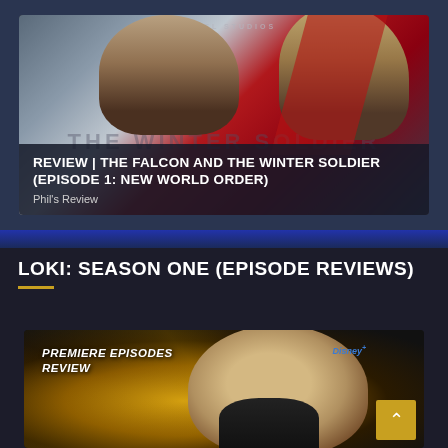[Figure (photo): Marvel Studios promotional image showing two characters from The Falcon and the Winter Soldier against a red and grey background]
REVIEW | THE FALCON AND THE WINTER SOLDIER (EPISODE 1: NEW WORLD ORDER)
Phil's Review
LOKI: SEASON ONE (EPISODE REVIEWS)
[Figure (photo): Loki Premiere Episodes Review thumbnail showing Tom Hiddleston as Loki with gold bokeh background and Disney+ logo]